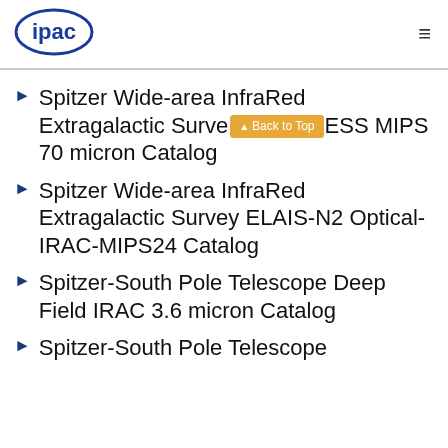ipac [logo] [hamburger menu]
Spitzer Wide-area InfraRed Extragalactic Survey, MIPS ESS MIPS 70 micron Catalog
Spitzer Wide-area InfraRed Extragalactic Survey ELAIS-N2 Optical-IRAC-MIPS24 Catalog
Spitzer-South Pole Telescope Deep Field IRAC 3.6 micron Catalog
Spitzer-South Pole Telescope